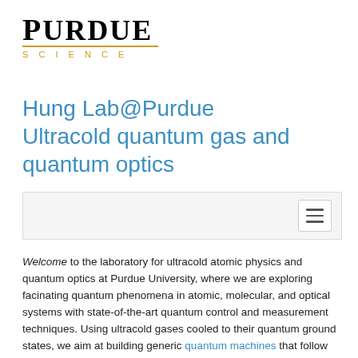[Figure (logo): Purdue Science logo with PURDUE in bold serif font and SCIENCE in gold spaced letters below a gold underline]
Hung Lab@Purdue Ultracold quantum gas and quantum optics
[Figure (screenshot): Navigation bar with hamburger menu button on right]
Welcome to the laboratory for ultracold atomic physics and quantum optics at Purdue University, where we are exploring facinating quantum phenomena in atomic, molecular, and optical systems with state-of-the-art quantum control and measurement techniques. Using ultracold gases cooled to their quantum ground states, we aim at building generic quantum machines that follow well-controlled actions and rules of quantum mechanics, and studying their quantum-/thermo-dynamics. We hope to provide new perspectives to research frontiers in few- and many-